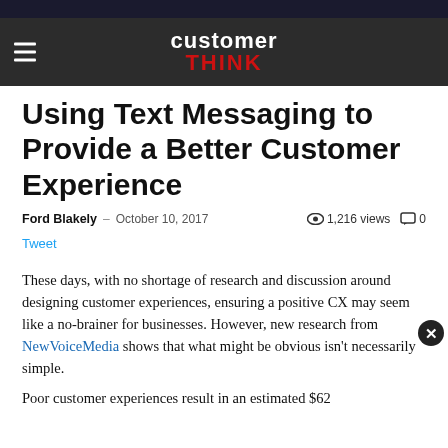customerTHINK
Using Text Messaging to Provide a Better Customer Experience
Ford Blakely  –  October 10, 2017    1,216 views   0
Tweet
These days, with no shortage of research and discussion around designing customer experiences, ensuring a positive CX may seem like a no-brainer for businesses. However, new research from NewVoiceMedia shows that what might be obvious isn't necessarily simple.
Poor customer experiences result in an estimated $62